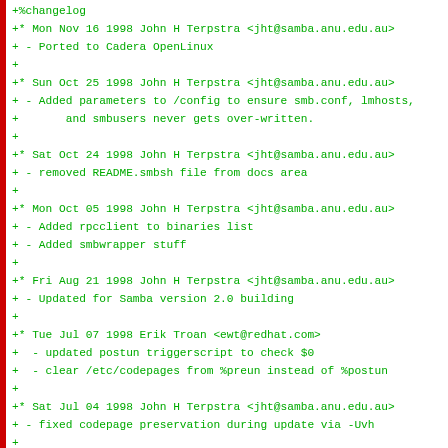+%changelog
+* Mon Nov 16 1998 John H Terpstra <jht@samba.anu.edu.au>
+ - Ported to Cadera OpenLinux
+
+* Sun Oct 25 1998 John H Terpstra <jht@samba.anu.edu.au>
+ - Added parameters to /config to ensure smb.conf, lmhosts,
+       and smbusers never gets over-written.
+
+* Sat Oct 24 1998 John H Terpstra <jht@samba.anu.edu.au>
+ - removed README.smbsh file from docs area
+
+* Mon Oct 05 1998 John H Terpstra <jht@samba.anu.edu.au>
+ - Added rpcclient to binaries list
+ - Added smbwrapper stuff
+
+* Fri Aug 21 1998 John H Terpstra <jht@samba.anu.edu.au>
+ - Updated for Samba version 2.0 building
+
+* Tue Jul 07 1998 Erik Troan <ewt@redhat.com>
+  - updated postun triggerscript to check $0
+  - clear /etc/codepages from %preun instead of %postun
+
+* Sat Jul 04 1998 John H Terpstra <jht@samba.anu.edu.au>
+ - fixed codepage preservation during update via -Uvh
+
+* Mon Jun 08 1998 Erik Troan <ewt@redhat.com>
+  - made the %postun script a tad less agressive; no reaso
+    the logs or lock file
+  - the %postun and %preun should only exectute if this is
+    removal
+  - migrated %triggerpostun from Red Hat's samba package to
+    packaging problems in some Red Hat samba releases
+